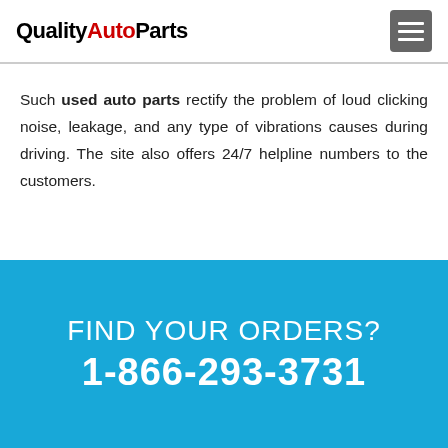QualityAutoParts
Such used auto parts rectify the problem of loud clicking noise, leakage, and any type of vibrations causes during driving. The site also offers 24/7 helpline numbers to the customers.
FIND YOUR ORDERS?
1-866-293-3731